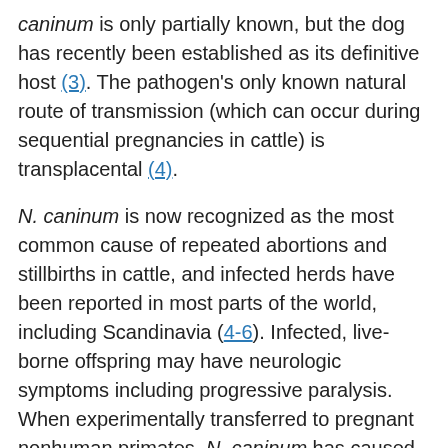caninum is only partially known, but the dog has recently been established as its definitive host (3). The pathogen's only known natural route of transmission (which can occur during sequential pregnancies in cattle) is transplacental (4).
N. caninum is now recognized as the most common cause of repeated abortions and stillbirths in cattle, and infected herds have been reported in most parts of the world, including Scandinavia (4-6). Infected, live-borne offspring may have neurologic symptoms including progressive paralysis. When experimentally transferred to pregnant nonhuman primates, N. caninum has caused fetal infection. The fetal lesions closely resembled those in congenital toxoplasmosis (7). N. caninum organisms are morphologically very similar to T. gondii, the pathogen responsible for toxoplasmosis; however, the two species have